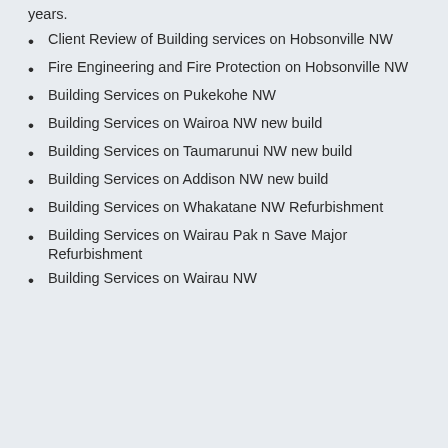years.
Client Review of Building services on Hobsonville NW
Fire Engineering and Fire Protection on Hobsonville NW
Building Services on Pukekohe NW
Building Services on Wairoa NW new build
Building Services on Taumarunui NW new build
Building Services on Addison NW new build
Building Services on Whakatane NW Refurbishment
Building Services on Wairau Pak n Save Major Refurbishment
Building Services on Wairau NW...